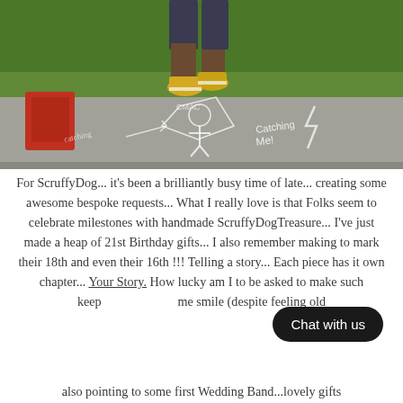[Figure (photo): Outdoor photo showing a person's legs wearing yellow sneakers walking on pavement with chalk drawings. Green grass visible in the background. The chalk drawings appear to be creative doodles with text 'Catching Me!' visible.]
For ScruffyDog... it's been a brilliantly busy time of late... creating some awesome bespoke requests... What I really love is that Folks seem to celebrate milestones with handmade ScruffyDogTreasure... I've just made a heap of 21st Birthday gifts... I also remember making to mark their 18th and even their 16th !!! Telling a story... Each piece has it own chapter... Your Story. How lucky am I to be asked to make such keepsakes... makes me smile (despite feeling old...)
also pointing to some first Wedding Band...lovely gifts